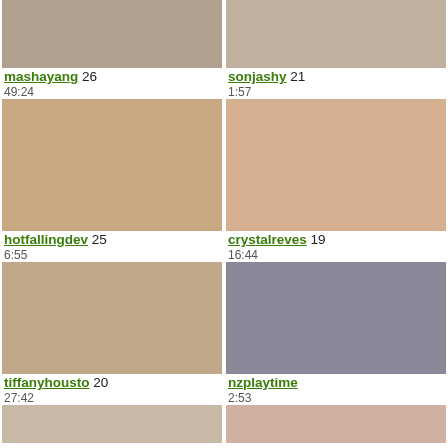[Figure (photo): Thumbnail image for mashayang]
[Figure (photo): Thumbnail image for sonjashy]
mashayang 26
49:24
sonjashy 21
1:57
[Figure (photo): Thumbnail image for hotfallingdev]
[Figure (photo): Thumbnail image for crystalreves]
hotfallingdev 25
6:55
crystalreves 19
16:44
[Figure (photo): Thumbnail image for tiffanyhousto]
[Figure (photo): Thumbnail image for nzplaytime]
tiffanyhousto 20
27:42
nzplaytime
2:53
[Figure (photo): Thumbnail image partial row bottom left]
[Figure (photo): Thumbnail image partial row bottom right]